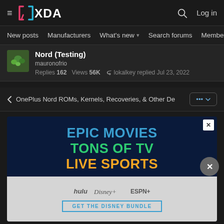XDA Forums — Navigation header with hamburger menu, XDA logo, search icon, Log in
New posts  Manufacturers  What's new  Search forums  Membe  >
Nord (Testing)
mauronofrio
Replies 162  Views 56K  ↩ lokalkey replied Jul 23, 2022
< OnePlus Nord ROMs, Kernels, Recoveries, & Other De  ... ▾
[Figure (screenshot): Advertisement for Disney Bundle: EPIC MOVIES / TONS OF TV / LIVE SPORTS with Hulu, Disney+, ESPN+ logos and GET THE DISNEY BUNDLE button]